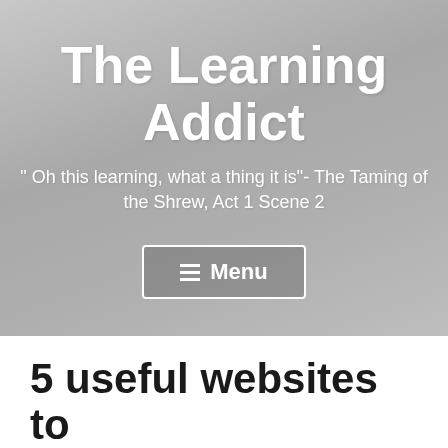[Figure (screenshot): Blog header banner with gradient gray background showing site title 'The Learning Addict', tagline, and menu button]
The Learning Addict
" Oh this learning, what a thing it is"- The Taming of the Shrew, Act 1 Scene 2
5 useful websites to